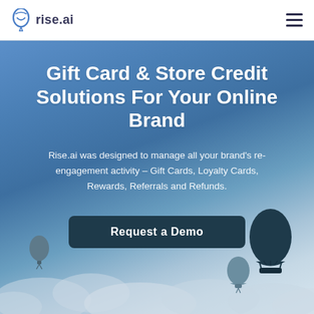rise.ai
Gift Card & Store Credit Solutions For Your Online Brand
Rise.ai was designed to manage all your brand's re-engagement activity – Gift Cards, Loyalty Cards, Rewards, Referrals and Refunds.
Request a Demo
[Figure (illustration): Decorative hot air balloons and cloud silhouettes against a blue gradient sky background]